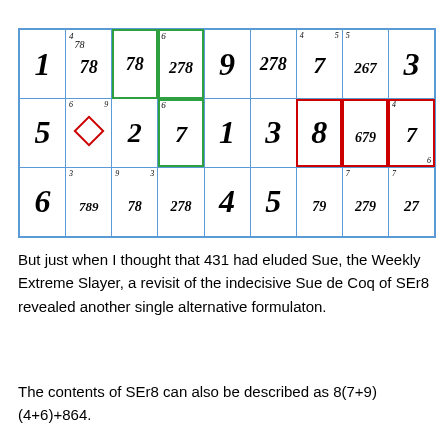[Figure (other): Partial Sudoku grid showing 3 rows and 9 columns with candidate numbers in small italic font, green border highlights on certain cells, a red border highlight on a cell group, and a diamond shape in one cell.]
But just when I thought that 431 had eluded Sue, the Weekly Extreme Slayer, a revisit of the indecisive Sue de Coq of SEr8 revealed another single alternative formulaton.
The contents of SEr8 can also be described as 8(7+9)(4+6)+864.